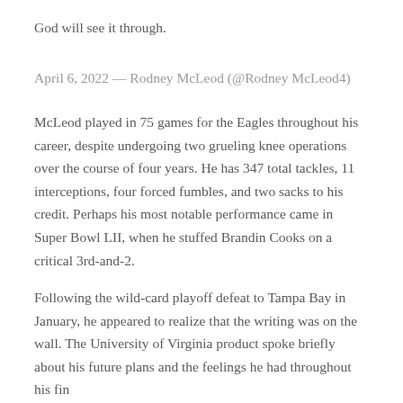God will see it through.
April 6, 2022 — Rodney McLeod (@Rodney McLeod4)
McLeod played in 75 games for the Eagles throughout his career, despite undergoing two grueling knee operations over the course of four years. He has 347 total tackles, 11 interceptions, four forced fumbles, and two sacks to his credit. Perhaps his most notable performance came in Super Bowl LII, when he stuffed Brandin Cooks on a critical 3rd-and-2.
Following the wild-card playoff defeat to Tampa Bay in January, he appeared to realize that the writing was on the wall. The University of Virginia product spoke briefly about his future plans and the feelings he had throughout his final